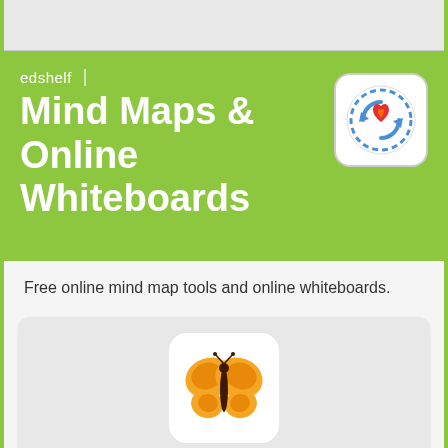edshelf | Mind Maps & Online Whiteboards
Free online mind map tools and online whiteboards.
[Figure (logo): FreeMind app icon: orange butterfly on white rounded square background]
FreeMind
[Figure (logo): Second app icon partially visible at bottom: orange circles/molecule shape on white rounded square background]